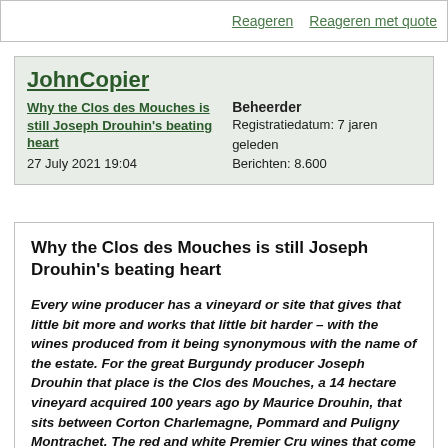Reageren    Reageren met quote
JohnCopier
Why the Clos des Mouches is still Joseph Drouhin's beating heart
27 July 2021 19:04
Beheerder
Registratiedatum: 7 jaren geleden
Berichten: 8.600
Why the Clos des Mouches is still Joseph Drouhin's beating heart
Every wine producer has a vineyard or site that gives that little bit more and works that little bit harder – with the wines produced from it being synonymous with the name of the estate. For the great Burgundy producer Joseph Drouhin that place is the Clos des Mouches, a 14 hectare vineyard acquired 100 years ago by Maurice Drouhin, that sits between Corton Charlemagne, Pommard and Puligny Montrachet. The red and white Premier Cru wines that come from this rare monopole are legendary in Burgundy, but that wasn't always the case. In the 1980s the family realised the soil was dying and something had to be